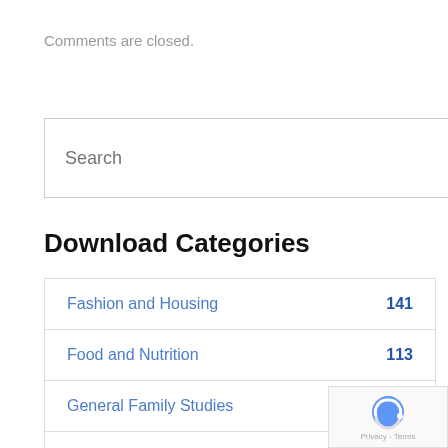Comments are closed.
[Figure (other): Search box with text input and black search button with magnifying glass icon]
Download Categories
| Category | Count |
| --- | --- |
| Fashion and Housing | 141 |
| Food and Nutrition | 113 |
| General Family Studies |  |
| Other Social Sciences and Humanities | 41 |